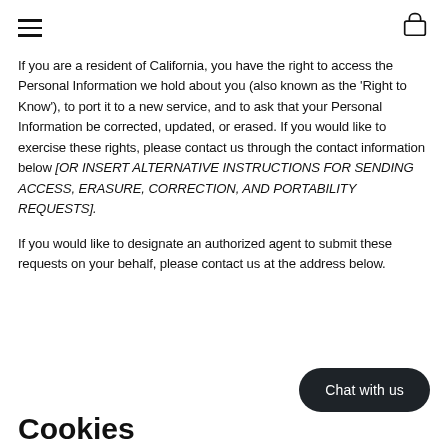navigation header with hamburger menu and shopping bag icon
If you are a resident of California, you have the right to access the Personal Information we hold about you (also known as the ‘Right to Know’), to port it to a new service, and to ask that your Personal Information be corrected, updated, or erased. If you would like to exercise these rights, please contact us through the contact information below [OR INSERT ALTERNATIVE INSTRUCTIONS FOR SENDING ACCESS, ERASURE, CORRECTION, AND PORTABILITY REQUESTS].
If you would like to designate an authorized agent to submit these requests on your behalf, please contact us at the address below.
Chat with us
Cookies